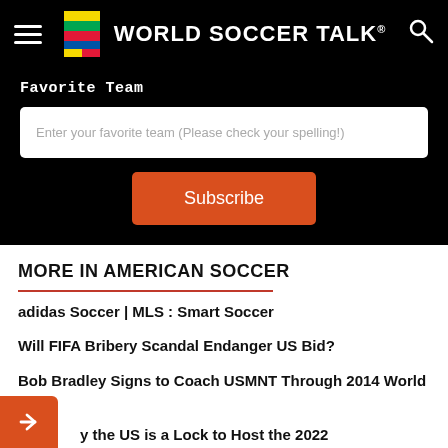World Soccer Talk
Favorite Team
Enter your favorite team (Please check your spelling!)
Subscribe
MORE IN AMERICAN SOCCER
adidas Soccer | MLS : Smart Soccer
Will FIFA Bribery Scandal Endanger US Bid?
Bob Bradley Signs to Coach USMNT Through 2014 World Cup
y the US is a Lock to Host the 2022 d Cup (a Maybe 2018)